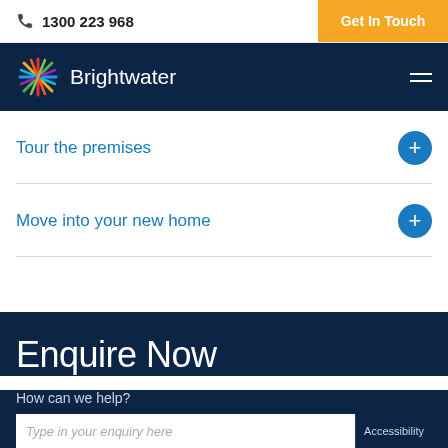1300 223 968
Get In Touch
Brightwater
Tour the premises
Move into your new home
Enquire Now
How can we help?
Type in your enquiry here